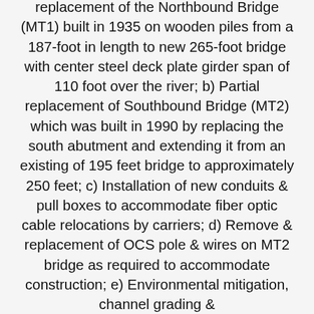replacement of the Northbound Bridge (MT1) built in 1935 on wooden piles from a 187-foot in length to new 265-foot bridge with center steel deck plate girder span of 110 foot over the river; b) Partial replacement of Southbound Bridge (MT2) which was built in 1990 by replacing the south abutment and extending it from an existing of 195 feet bridge to approximately 250 feet; c) Installation of new conduits & pull boxes to accommodate fiber optic cable relocations by carriers; d) Remove & replacement of OCS pole & wires on MT2 bridge as required to accommodate construction; e) Environmental mitigation, channel grading &